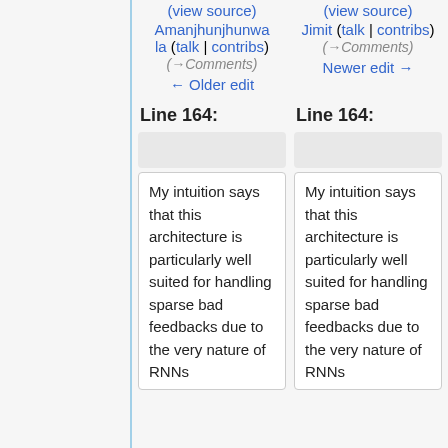(view source)
Amanjhunjhunwala (talk | contribs) (→Comments) ← Older edit
(view source)
Jimit (talk | contribs) (→Comments) Newer edit →
Line 164:
Line 164:
My intuition says that this architecture is particularly well suited for handling sparse bad feedbacks due to the very nature of RNNs (robustness) and provides a solid foundation of feedback-
My intuition says that this architecture is particularly well suited for handling sparse bad feedbacks due to the very nature of RNNs (robustness) and provides a solid foundation of feedback-